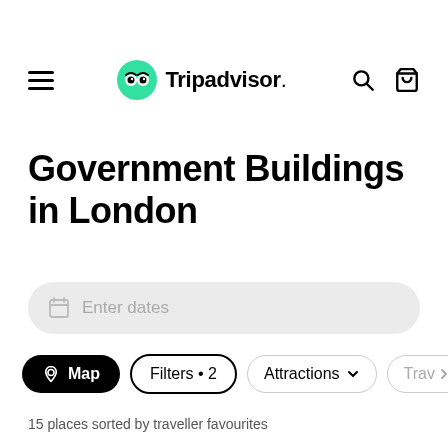[Figure (logo): Tripadvisor logo with owl icon and navigation bar including hamburger menu, search icon, and cart icon]
Government Buildings in London
Enter dates
Map  Filters • 2  Attractions  Trav>
15 places sorted by traveller favourites